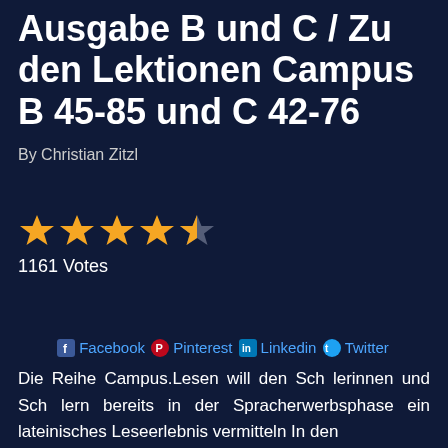Abenteuer aus Odyssee. Ausgabe B und C / Zu den Lektionen Campus B 45-85 und C 42-76
By Christian Zitzl
[Figure (other): Star rating display showing 4.5 out of 5 stars (4 full gold stars and 1 half star)]
1161 Votes
Facebook Pinterest Linkedin Twitter
Die Reihe Campus.Lesen will den Sch lerinnen und Sch lern bereits in der Spracherwerbsphase ein lateinisches Leseerlebnis vermitteln In den